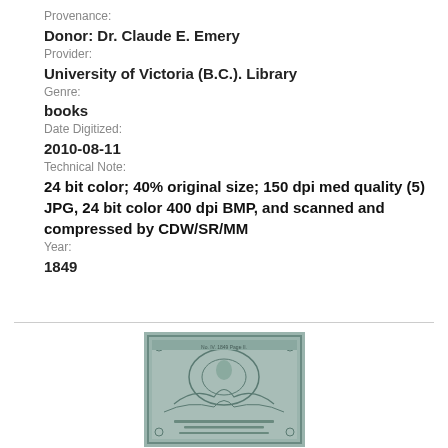Provenance:
Donor: Dr. Claude E. Emery
Provider:
University of Victoria (B.C.). Library
Genre:
books
Date Digitized:
2010-08-11
Technical Note:
24 bit color; 40% original size; 150 dpi med quality (5) JPG, 24 bit color 400 dpi BMP, and scanned and compressed by CDW/SR/MM
Year:
1849
[Figure (photo): Scanned book cover with ornate decorative design, greenish-blue tinted]